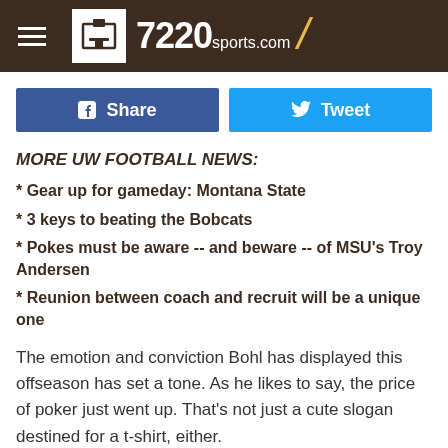7220sports.com
[Figure (other): Facebook Share button and Twitter Tweet button social sharing bar]
MORE UW FOOTBALL NEWS:
* Gear up for gameday: Montana State
* 3 keys to beating the Bobcats
* Pokes must be aware -- and beware -- of MSU's Troy Andersen
* Reunion between coach and recruit will be a unique one
The emotion and conviction Bohl has displayed this offseason has set a tone. As he likes to say, the price of poker just went up. That's not just a cute slogan destined for a t-shirt, either.